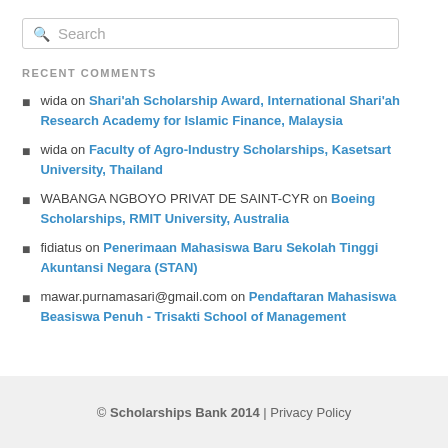RECENT COMMENTS
wida on Shari'ah Scholarship Award, International Shari'ah Research Academy for Islamic Finance, Malaysia
wida on Faculty of Agro-Industry Scholarships, Kasetsart University, Thailand
WABANGA NGBOYO PRIVAT DE SAINT-CYR on Boeing Scholarships, RMIT University, Australia
fidiatus on Penerimaan Mahasiswa Baru Sekolah Tinggi Akuntansi Negara (STAN)
mawar.purnamasari@gmail.com on Pendaftaran Mahasiswa Beasiswa Penuh - Trisakti School of Management
© Scholarships Bank 2014 | Privacy Policy